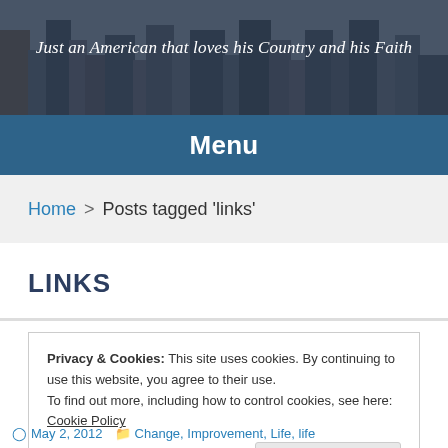Just an American that loves his Country and his Faith
Menu
Home > Posts tagged 'links'
LINKS
Privacy & Cookies: This site uses cookies. By continuing to use this website, you agree to their use.
To find out more, including how to control cookies, see here: Cookie Policy
Close and accept
May 2, 2012   Change, Improvement, Life, life